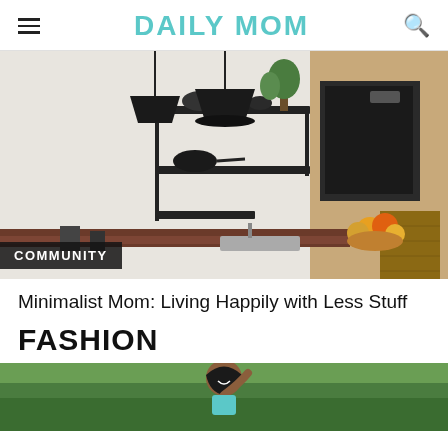DAILY MOM
[Figure (photo): Woman standing in a minimalist kitchen with open shelving, plants, pots and pans, and a wooden countertop. Category label COMMUNITY overlaid at bottom left.]
Minimalist Mom: Living Happily with Less Stuff
FASHION
[Figure (photo): Woman smiling outdoors with green trees in background, partial view at bottom of page.]